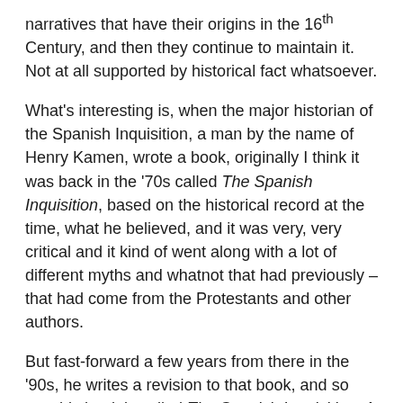narratives that have their origins in the 16th Century, and then they continue to maintain it. Not at all supported by historical fact whatsoever.
What's interesting is, when the major historian of the Spanish Inquisition, a man by the name of Henry Kamen, wrote a book, originally I think it was back in the '70s called The Spanish Inquisition, based on the historical record at the time, what he believed, and it was very, very critical and it kind of went along with a lot of different myths and whatnot that had previously – that had come from the Protestants and other authors.
But fast-forward a few years from there in the '90s, he writes a revision to that book, and so now his book is called The Spanish Inquisition: A Historical Revision. And he basically rewrote his book based on new information and new documents that he had uncovered in a new look at the whole Spanish Inquisition. And he overturned previously what he had believed, and he saw that this Inquisition was not what these false narratives